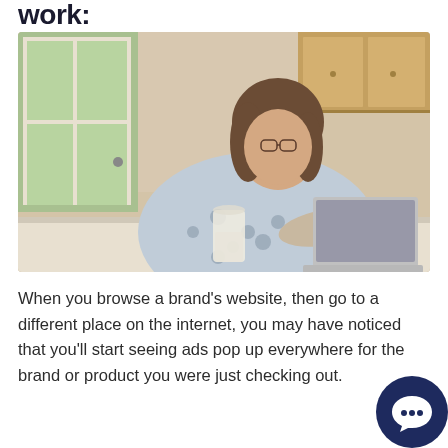work:
[Figure (photo): A middle-aged woman with glasses and long brown hair wearing a light gray polka-dot blouse, sitting at a kitchen counter working on a laptop with a glass of milk nearby. Window with outdoor greenery visible in the background and wooden cabinets above.]
When you browse a brand's website, then go to a different place on the internet, you may have noticed that you'll start seeing ads pop up everywhere for the brand or product you were just checking out.